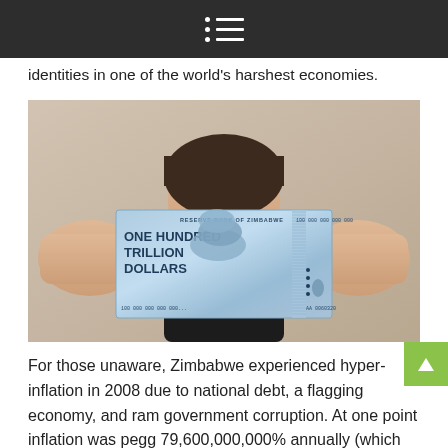[Navigation menu icon]
identities in one of the world's harshest economies.
[Figure (photo): A person holding up a Zimbabwe One Hundred Trillion Dollar banknote in front of their face, obscuring it. The person is wearing a black t-shirt. The banknote reads 'RESERVE BANK OF ZIMBABWE ONE HUNDRED TRILLION DOLLARS'.]
For those unaware, Zimbabwe experienced hyper-inflation in 2008 due to national debt, a flagging economy, and ram government corruption. At one point inflation was pegg 79,600,000,000% annually (which meant that every day their money was worth only about half as much as it had been the